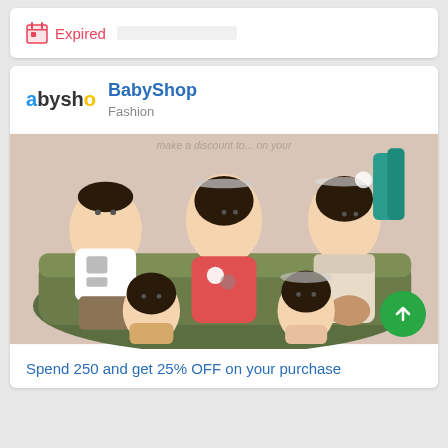[Figure (screenshot): Expired coupon card with calendar icon and red 'Expired' label and grey bar placeholder]
[Figure (screenshot): BabyShop fashion brand card with logo, brand name, category, product photo of children in formal wear, and a deal text]
Expired
BabyShop
Fashion
Spend 250 and get 25% OFF on your purchase